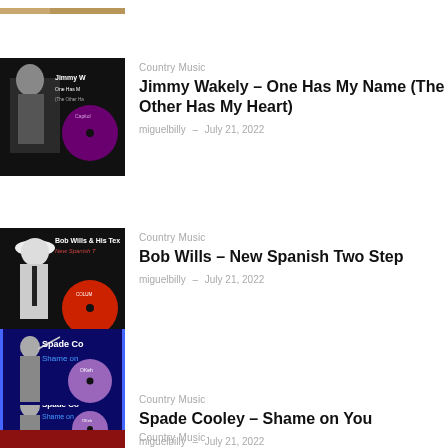[Figure (photo): Partial cropped image at top of page, brownish tones]
[Figure (photo): Jimmy Wakely album cover - One Has My Name (The Other Has My Heart), black background with Capitol Records label]
Country Music
Jimmy Wakely – One Has My Name (The Other Has My Heart)
miguelbilly – July 21, 2022
[Figure (photo): Bob Wills & His Texas Playboys album cover - New Spanish Two Step, black and white photo with Columbia Records label]
Country Music
Bob Wills – New Spanish Two Step
miguelbilly – July 21, 2022
[Figure (photo): Spade Cooley album cover - Shame on You, blue border with OKeh Records label]
Country Music
Spade Cooley – Shame on You
miguelbilly – July 21, 2022
[Figure (photo): Partial album cover at bottom, red tones, partially cropped]
Country Music